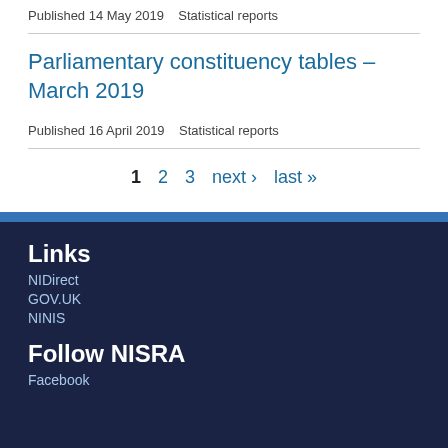Published 14 May 2019   Statistical reports
Parliamentary constituency tables – March 2019
Published 16 April 2019   Statistical reports
1  2  3  next ›  last »
Links
NIDirect
GOV.UK
NINIS
Follow NISRA
Facebook